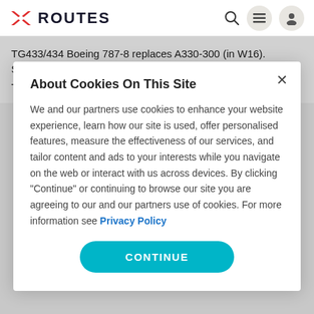ROUTES (navigation bar with logo, search, menu, and profile icons)
TG433/434 Boeing 787-8 replaces A330-300 (in W16). Service operates with 777-200ER in Oct 2017
TG435/436 Boeing 777-200ER replaces 787-8 (3 weekly)
About Cookies On This Site
We and our partners use cookies to enhance your website experience, learn how our site is used, offer personalised features, measure the effectiveness of our services, and tailor content and ads to your interests while you navigate on the web or interact with us across devices. By clicking "Continue" or continuing to browse our site you are agreeing to our and our partners use of cookies. For more information see Privacy Policy